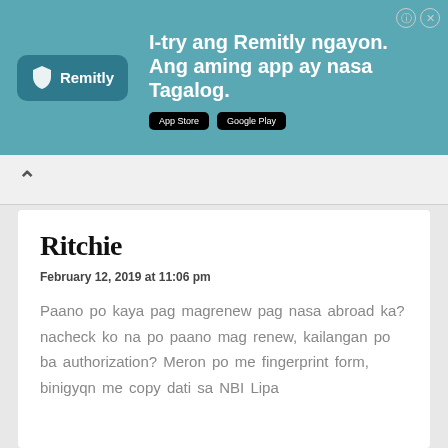[Figure (screenshot): Remitly advertisement banner with teal background, Remitly logo on left, text 'I-try ang Remitly ngayon. Ang aming app ay nasa Tagalog.' with App Store and Google Play buttons, and a photo of two people on the right.]
^
Ritchie
February 12, 2019 at 11:06 pm
Paano po kaya pag magrenew pag nasa abroad ka? nacheck ko na po paano mag renew, kailangan po ba authorization? Meron po me fingerprint form, binigyqn me copy dati sa NBI Lipa